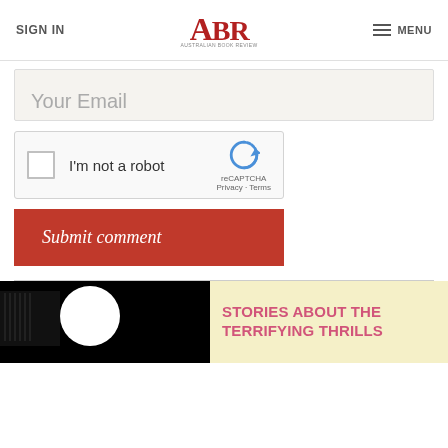SIGN IN | ABR AUSTRALIAN BOOK REVIEW | MENU
Your Email
[Figure (other): reCAPTCHA widget with checkbox labeled 'I'm not a robot' and reCAPTCHA logo with Privacy and Terms links]
Submit comment
STORIES ABOUT THE TERRIFYING THRILLS